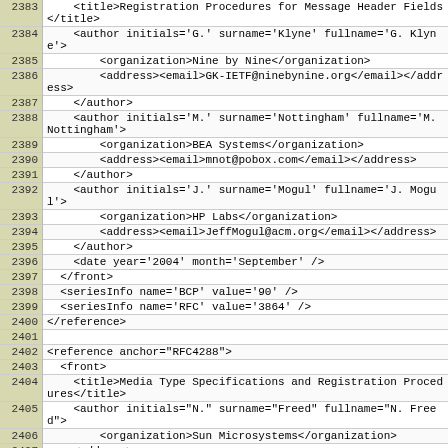| Line | Code |
| --- | --- |
| 2383 |     <title>Registration Procedures for Message Header Fields</title> |
| 2384 |     <author initials='G.' surname='Klyne' fullname='G. Klyne'> |
| 2385 |         <organization>Nine by Nine</organization> |
| 2386 |         <address><email>GK-IETF@ninebynine.org</email></address> |
| 2387 |     </author> |
| 2388 |     <author initials='M.' surname='Nottingham' fullname='M. Nottingham'> |
| 2389 |         <organization>BEA Systems</organization> |
| 2390 |         <address><email>mnot@pobox.com</email></address> |
| 2391 |     </author> |
| 2392 |     <author initials='J.' surname='Mogul' fullname='J. Mogul'> |
| 2393 |         <organization>HP Labs</organization> |
| 2394 |         <address><email>JeffMogul@acm.org</email></address> |
| 2395 |     </author> |
| 2396 |     <date year='2004' month='September' /> |
| 2397 |   </front> |
| 2398 |   <seriesInfo name='BCP' value='90' /> |
| 2399 |   <seriesInfo name='RFC' value='3864' /> |
| 2400 | </reference> |
| 2401 |  |
| 2402 | <reference anchor="RFC4288"> |
| 2403 |   <front> |
| 2404 |     <title>Media Type Specifications and Registration Procedures</title> |
| 2405 |     <author initials="N." surname="Freed" fullname="N. Freed"> |
| 2406 |         <organization>Sun Microsystems</organization> |
| 2407 |     <address> |